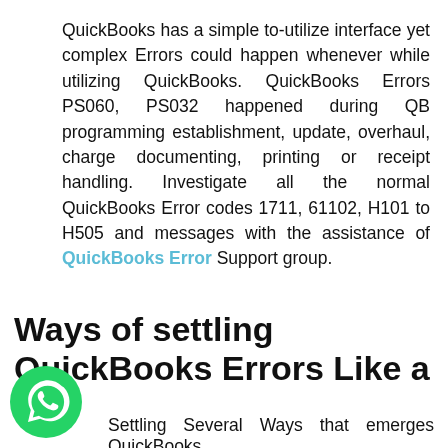QuickBooks has a simple to-utilize interface yet complex Errors could happen whenever while utilizing QuickBooks. QuickBooks Errors PS060, PS032 happened during QB programming establishment, update, overhaul, charge documenting, printing or receipt handling. Investigate all the normal QuickBooks Error codes 1711, 61102, H101 to H505 and messages with the assistance of QuickBooks Error Support group.
Ways of settling QuickBooks Errors Like a Pro
Settling Several Ways that emerges QuickBooks